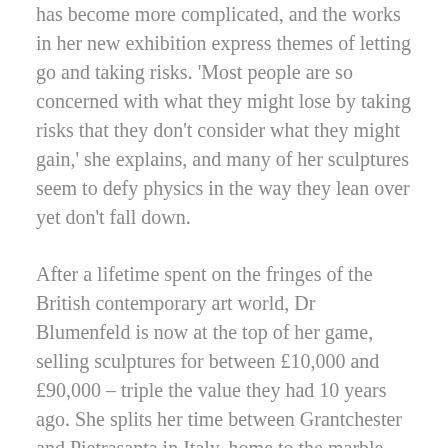has become more complicated, and the works in her new exhibition express themes of letting go and taking risks. 'Most people are so concerned with what they might lose by taking risks that they don't consider what they might gain,' she explains, and many of her sculptures seem to defy physics in the way they lean over yet don't fall down.
After a lifetime spent on the fringes of the British contemporary art world, Dr Blumenfeld is now at the top of her game, selling sculptures for between £10,000 and £90,000 – triple the value they had 10 years ago. She splits her time between Grantchester and Pietrasanta in Italy, home to the marble used by Michelangelo, and, more recently, Botero, where she has honed skills learnt from master craftsmen there, working in a studio she has rented since the 1960s.